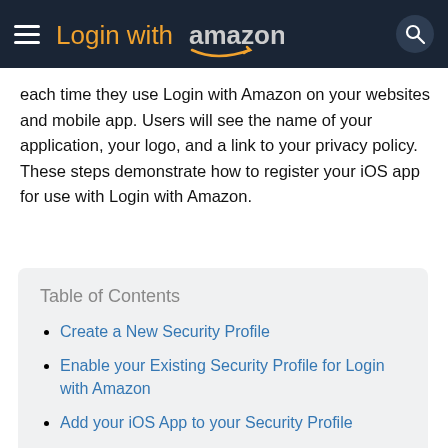Login with Amazon
each time they use Login with Amazon on your websites and mobile app. Users will see the name of your application, your logo, and a link to your privacy policy. These steps demonstrate how to register your iOS app for use with Login with Amazon.
Table of Contents
Create a New Security Profile
Enable your Existing Security Profile for Login with Amazon
Add your iOS App to your Security Profile
iOS Bundle ID and API Keys
Determining a Bundle Identifier for an